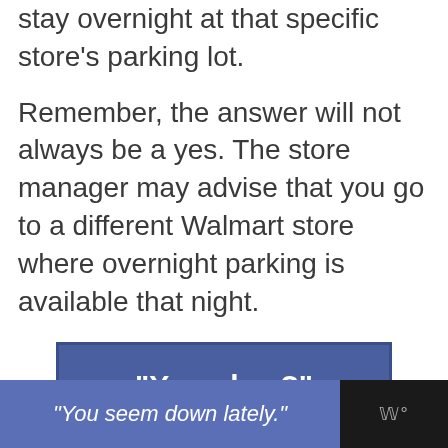stay overnight at that specific store's parking lot.
Remember, the answer will not always be a yes. The store manager may advise that you go to a different Walmart store where overnight parking is available that night.
[Figure (other): Blue button/banner with white bold text reading: "You okay?"]
"You seem down lately."